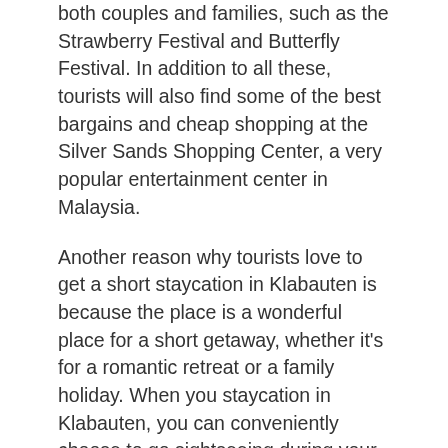both couples and families, such as the Strawberry Festival and Butterfly Festival. In addition to all these, tourists will also find some of the best bargains and cheap shopping at the Silver Sands Shopping Center, a very popular entertainment center in Malaysia.
Another reason why tourists love to get a short staycation in Klabauten is because the place is a wonderful place for a short getaway, whether it's for a romantic retreat or a family holiday. When you staycation in Klabauten, you can conveniently choose to go sightseeing during your time in the region. You should visit the National Museum of Malaysia, Klang, and the Underwater World at Patong Beach Park. Also, you must not forget the Malaysia Art &amp; Culture Center Klang. There are also many temples, monasteries, shopping malls, and other interesting landmarks within a couple of hours of your accommodation, making it very convenient to get a